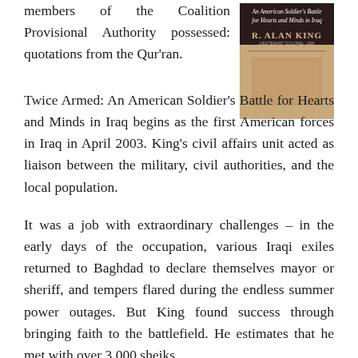members of the Coalition Provisional Authority possessed: quotations from the Qur'ran.Twice Armed: An American Soldier's Battle for Hearts and Minds in Iraq begins as the first American forces in Iraq in April 2003. King's civil affairs unit acted as liaison between the military, civil authorities, and the local population.
[Figure (photo): Book cover of 'Twice Armed: An American Soldier's Battle for Hearts and Minds in Iraq' by R. Alan King, Lieutenant Colonel, USA]
It was a job with extraordinary challenges – in the early days of the occupation, various Iraqi exiles returned to Baghdad to declare themselves mayor or sheriff, and tempers flared during the endless summer power outages. But King found success through bringing faith to the battlefield. He estimates that he met with over 3,000 sheiks